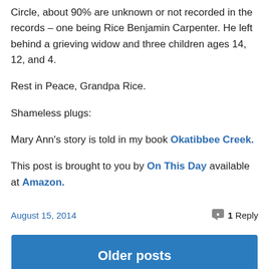Circle, about 90% are unknown or not recorded in the records – one being Rice Benjamin Carpenter. He left behind a grieving widow and three children ages 14, 12, and 4.
Rest in Peace, Grandpa Rice.
Shameless plugs:
Mary Ann's story is told in my book Okatibbee Creek.
This post is brought to you by On This Day available at Amazon.
August 15, 2014   1 Reply
Older posts